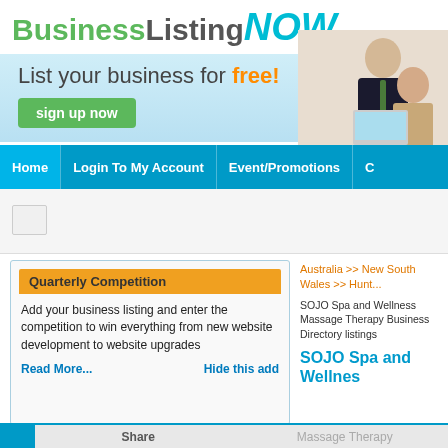[Figure (logo): BusinessListingNOW logo with green 'Business', grey 'Listing', and cyan italic 'NOW']
[Figure (infographic): Light blue banner with tagline 'List your business for free!' and green 'sign up now' button, with two business people photo on right]
Home | Login To My Account | Event/Promotions
[Figure (screenshot): Search input area with small search box]
Quarterly Competition
Add your business listing and enter the competition to win everything from new website development to website upgrades
Read More... Hide this add
Australia >> New South Wales >> Hunt...
SOJO Spa and Wellness Massage Therapy Business Directory listings
SOJO Spa and Wellnes
Share | Massage Therapy